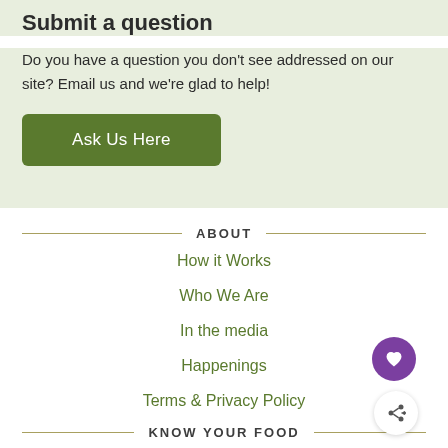Submit a question
Do you have a question you don't see addressed on our site? Email us and we're glad to help!
Ask Us Here
ABOUT
How it Works
Who We Are
In the media
Happenings
Terms & Privacy Policy
KNOW YOUR FOOD